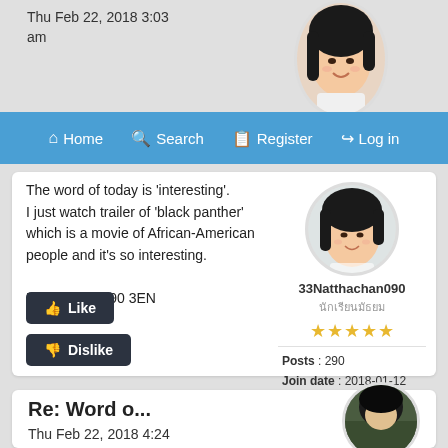Thu Feb 22, 2018 3:03 am
Home  Search  Register  Log in
The word of today is 'interesting'.
I just watch trailer of 'black panther' which is a movie of African-American people and it's so interesting.

Natthachan 090 3EN
[Figure (photo): Circular avatar photo of a young Asian woman smiling]
33Natthachan090
นักเรียนมัธยม
★★★★★
Posts : 290
Join date : 2018-01-12
Age : 26
Location : Thailand
Like
Dislike
Re: Word o...
Thu Feb 22, 2018 4:24
[Figure (photo): Partial circular avatar photo showing top of head with dark hair]